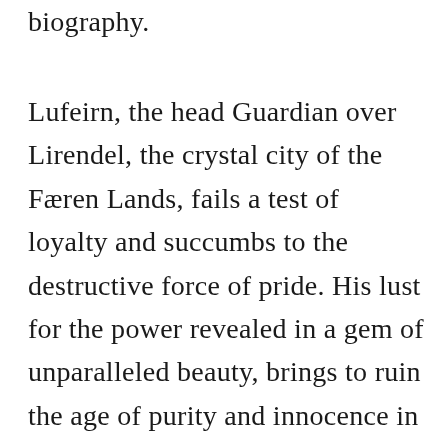biography.
Lufeirn, the head Guardian over Lirendel, the crystal city of the Færen Lands, fails a test of loyalty and succumbs to the destructive force of pride. His lust for the power revealed in a gem of unparalleled beauty, brings to ruin the age of purity and innocence in this majestic realm. His subsequent rebellion